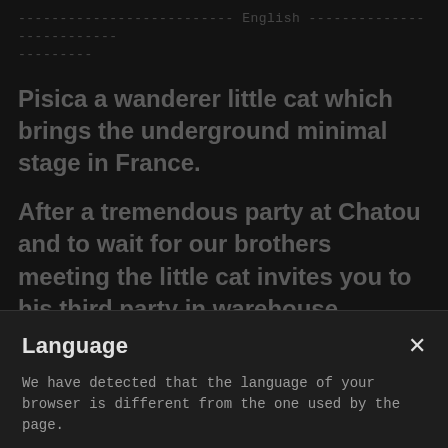-------------------------- English --------------------------
---------
Pisica a wanderer little cat which brings the underground minimal stage in France.
After a tremendous party at Chatou and to wait for our brothers meeting the little cat invites you to his third party in warehouse.
This. Time we will have 2 talented Romanian DJ, DJ sets made in Paris, the whole thing in a huge
Language
We have detected that the language of your browser is different from the one used by the page.
BROWSE IN ENGLISH 🇬🇧
that we are excited to have the
Comming from the Romanian Underground it the